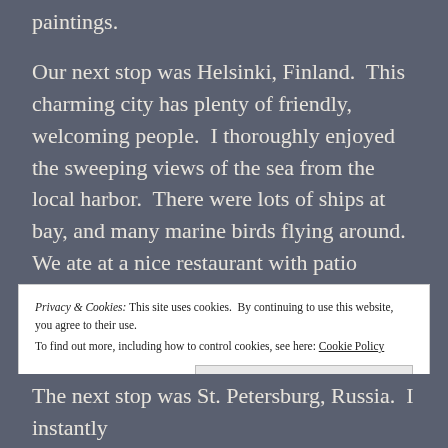paintings.
Our next stop was Helsinki, Finland.  This charming city has plenty of friendly, welcoming people.  I thoroughly enjoyed the sweeping views of the sea from the local harbor.  There were lots of ships at bay, and many marine birds flying around.  We ate at a nice restaurant with patio umbrellas.  From there we toured a church built into solid rock, and that was quite interesting.  We also saw the Sibelius Monument, which was tall and surrounded by green hills.
Privacy & Cookies: This site uses cookies.  By continuing to use this website, you agree to their use.
To find out more, including how to control cookies, see here: Cookie Policy
The next stop was St. Petersburg, Russia.  I instantly